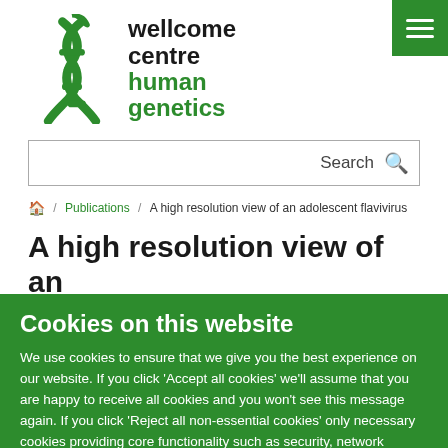[Figure (logo): Wellcome Centre Human Genetics logo with DNA double helix in green and text 'wellcome centre human genetics']
[Figure (other): Green hamburger menu button in top right corner]
Search
Home / Publications / A high resolution view of an adolescent flavivirus
A high resolution view of an
Cookies on this website
We use cookies to ensure that we give you the best experience on our website. If you click 'Accept all cookies' we'll assume that you are happy to receive all cookies and you won't see this message again. If you click 'Reject all non-essential cookies' only necessary cookies providing core functionality such as security, network management, and accessibility will be enabled.